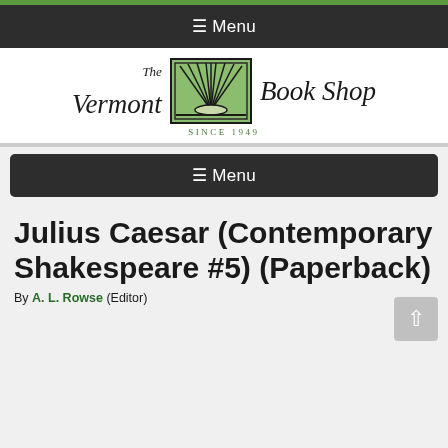≡ Menu
[Figure (logo): The Vermont Book Shop logo with sun-ray emblem and 'Since 1949' tagline]
≡ Menu
Julius Caesar (Contemporary Shakespeare #5) (Paperback)
By A. L. Rowse (Editor)